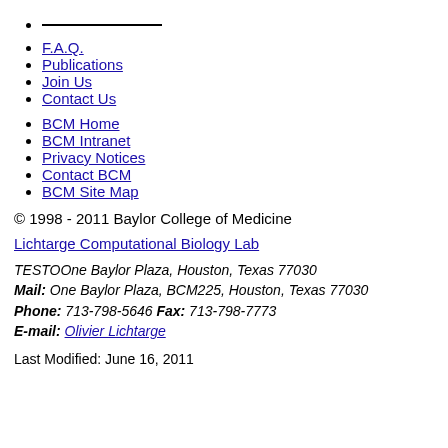___________
F.A.Q.
Publications
Join Us
Contact Us
BCM Home
BCM Intranet
Privacy Notices
Contact BCM
BCM Site Map
© 1998 - 2011 Baylor College of Medicine
Lichtarge Computational Biology Lab
TESTOOne Baylor Plaza, Houston, Texas 77030
Mail: One Baylor Plaza, BCM225, Houston, Texas 77030
Phone: 713-798-5646 Fax: 713-798-7773
E-mail: Olivier Lichtarge
Last Modified: June 16, 2011